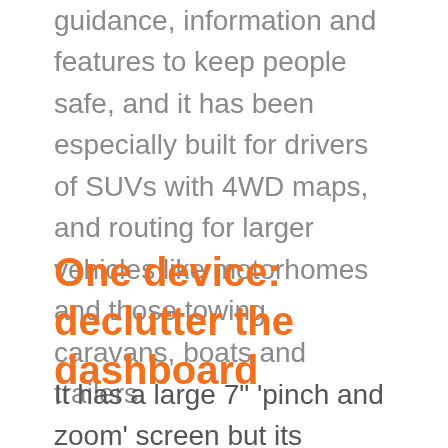guidance, information and features to keep people safe, and it has been especially built for drivers of SUVs with 4WD maps, and routing for larger vehicles like motorhomes and those towing caravans, boats and trailers.
One device: declutter the dashboard
It has a large 7” ‘pinch and zoom’ screen but its smooth and sleek design means it fits neatly on the windscreen with a new